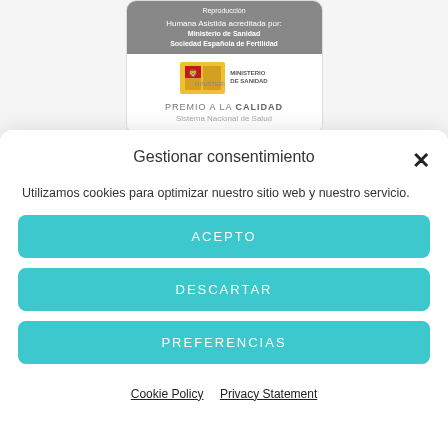[Figure (logo): Accreditation badge showing 'Reproducción Humana Asistida acreditada por: Ministerio de Sanidad, Sociedad Española de Fertilidad' with a Ministerio de Sanidad logo and 'PREMIO A LA CALIDAD Sistema Nacional de Salud']
Gestionar consentimiento
Utilizamos cookies para optimizar nuestro sitio web y nuestro servicio.
ACEPTO
DESCARTAR
PREFERENCIAS
Cookie Policy  Privacy Statement